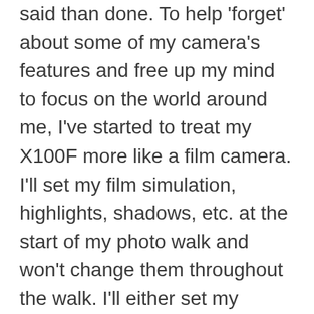said than done. To help 'forget' about some of my camera's features and free up my mind to focus on the world around me, I've started to treat my X100F more like a film camera. I'll set my film simulation, highlights, shadows, etc. at the start of my photo walk and won't change them throughout the walk. I'll either set my camera to aperture priority mode or I'll shoot manually. And I'll also usually shoot with the OVF rather than the EVF or the LCD. The final touch is to set my camera to not show a preview after taking the image.
The last two images and today's image were all shot this way on the same photo walk. I was in a